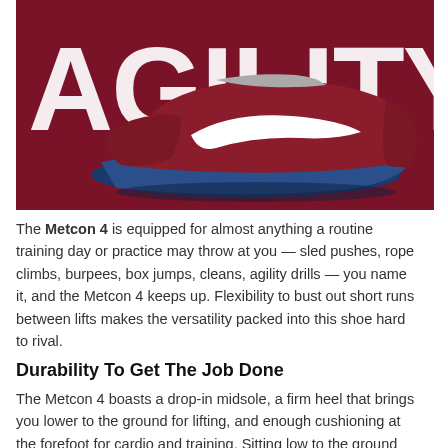[Figure (photo): Nike Metcon 4 athletic shoe in dark red/maroon with white Nike swoosh and blue sole, displayed against a dark maroon background with large white text 'AGILITY' behind it.]
The Metcon 4 is equipped for almost anything a routine training day or practice may throw at you — sled pushes, rope climbs, burpees, box jumps, cleans, agility drills — you name it, and the Metcon 4 keeps up. Flexibility to bust out short runs between lifts makes the versatility packed into this shoe hard to rival.
Durability To Get The Job Done
The Metcon 4 boasts a drop-in midsole, a firm heel that brings you lower to the ground for lifting, and enough cushioning at the forefoot for cardio and training. Sitting low to the ground with a 4mm offset, the new Metcon